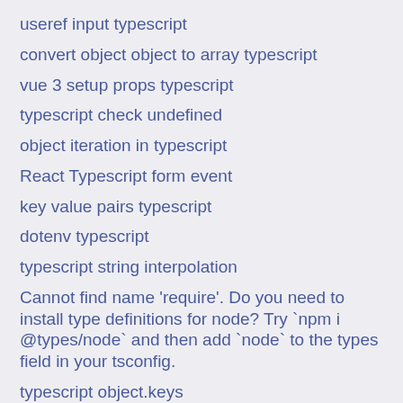useref input typescript
convert object object to array typescript
vue 3 setup props typescript
typescript check undefined
object iteration in typescript
React Typescript form event
key value pairs typescript
dotenv typescript
typescript string interpolation
Cannot find name 'require'. Do you need to install type definitions for node? Try `npm i @types/node` and then add `node` to the types field in your tsconfig.
typescript object.keys